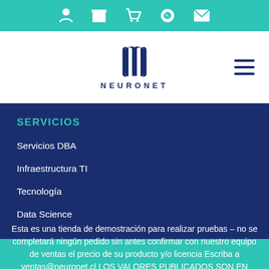[icons: user, store, cart, whatsapp, mail]
[Figure (logo): Neuronet logo: stylized double-N brain icon in dark blue with text NEURONET below in spaced capitals]
SERVICIOS
Servicios DBA
Infraestructura TI
Tecnología
Data Science
Esta es una tienda de demostración para realizar pruebas – no se completará ningún pedido sin antes confirmar con nuestro equipo de ventas el precio de su producto y/o licencia Escriba a ventas@neuronet.cl LOS VALORES PUBLICADOS SON EN DÓLARES. Descartar